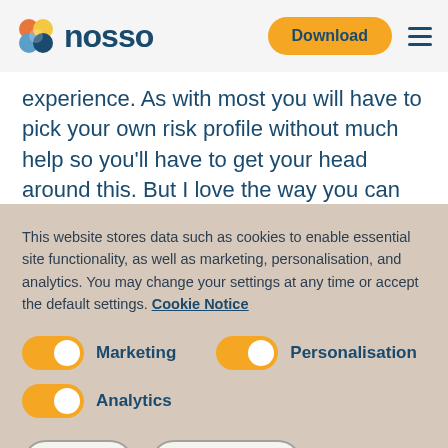nosso | Download
experience. As with most you will have to pick your own risk profile without much help so you'll have to get your head around this. But I love the way you can add a little flavour of
This website stores data such as cookies to enable essential site functionality, as well as marketing, personalisation, and analytics. You may change your settings at any time or accept the default settings. Cookie Notice
Marketing (toggle on) | Personalisation (toggle on)
Analytics (toggle on)
Save | Accept all